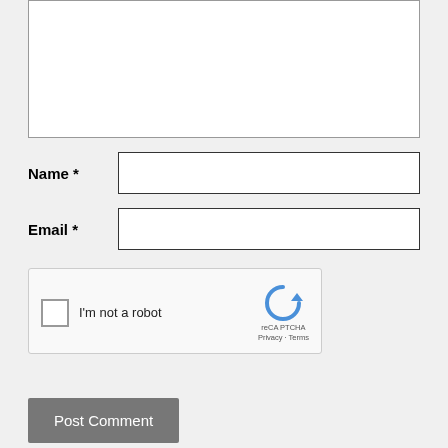[Figure (screenshot): Comment form with textarea, Name field, Email field, reCAPTCHA widget, and Post Comment button]
About Us   Privacy Policy   Advertise   Contact Us   Old Site
© 2003-2021 Chitralnews.com. All Rights Reserved.